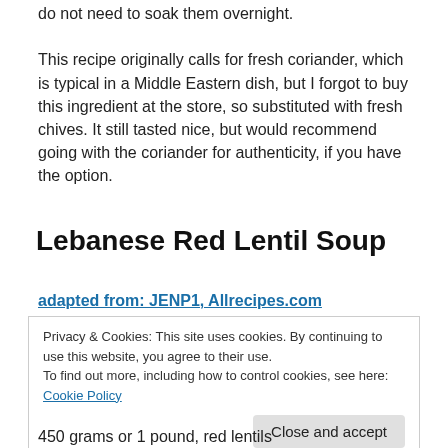do not need to soak them overnight.
This recipe originally calls for fresh coriander, which is typical in a Middle Eastern dish, but I forgot to buy this ingredient at the store, so substituted with fresh chives. It still tasted nice, but would recommend going with the coriander for authenticity, if you have the option.
Lebanese Red Lentil Soup
adapted from: JENP1, Allrecipes.com
Privacy & Cookies: This site uses cookies. By continuing to use this website, you agree to their use.
To find out more, including how to control cookies, see here: Cookie Policy
450 grams or 1 pound, red lentils